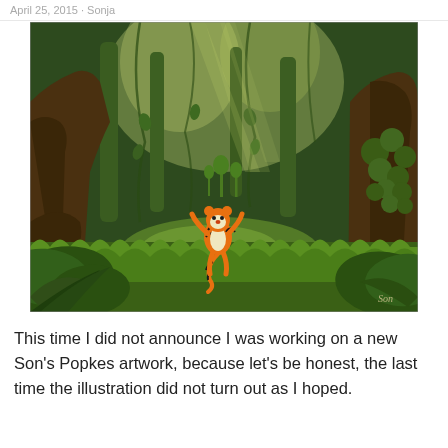April 25, 2015 · Sonja
[Figure (illustration): A painted illustration of a jungle scene with large trees, hanging vines, lush green grass and foliage. A cartoon tiger character (Tigger from Winnie the Pooh) sits in the middle of the clearing looking up. The artist signature 'Son' appears in the bottom right corner.]
This time I did not announce I was working on a new Son's Popkes artwork, because let's be honest, the last time the illustration did not turn out as I hoped.